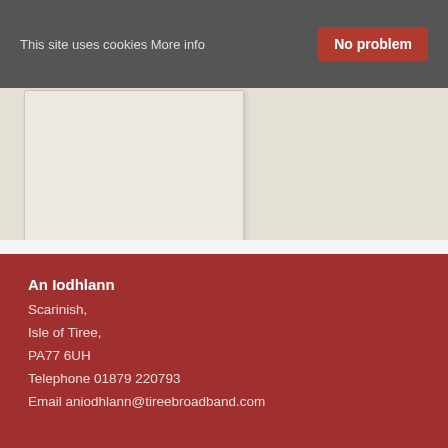This site uses cookies More info
No problem
[Figure (map): A map panel showing a beige/cream background map area with a lighter card/panel overlay on the left side]
2020.1.82
An Iodhlann
Scarinish,
Isle of Tiree,
PA77 6UH
Telephone 01879 220793
Email aniodhlann@tireebroadband.com